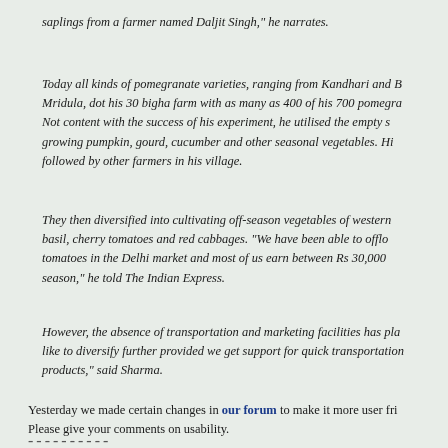saplings from a farmer named Daljit Singh," he narrates.
Today all kinds of pomegranate varieties, ranging from Kandhari and B... Mridula, dot his 30 bigha farm with as many as 400 of his 700 pomegra... Not content with the success of his experiment, he utilised the empty s... growing pumpkin, gourd, cucumber and other seasonal vegetables. Hi... followed by other farmers in his village.
They then diversified into cultivating off-season vegetables of western... basil, cherry tomatoes and red cabbages. "We have been able to offlo... tomatoes in the Delhi market and most of us earn between Rs 30,000... season," he told The Indian Express.
However, the absence of transportation and marketing facilities has pla... like to diversify further provided we get support for quick transportation... products," said Sharma.
Yesterday we made certain changes in our forum to make it more user fri... Please give your comments on usability.
----------